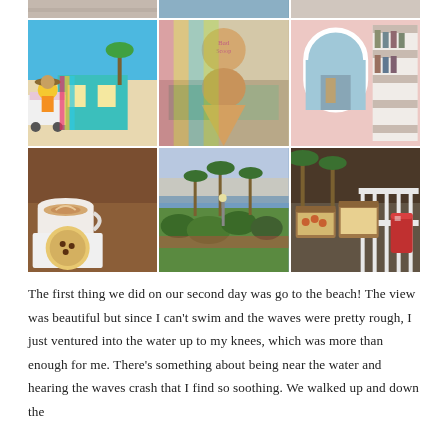[Figure (photo): 6-photo grid collage: top strip of 3 small photos, then two rows of 3 photos each. Photos include: a colorful beach shack with food truck and woman in hat; an ice cream cone with a sign reading 'Bad Scoop'; a pink storefront with arched window and shelves; a latte and breakfast pastry on a wood table; a scenic resort view with palm trees and ocean at sunset; takeout food boxes with drinks.]
The first thing we did on our second day was go to the beach! The view was beautiful but since I can't swim and the waves were pretty rough, I just ventured into the water up to my knees, which was more than enough for me. There's something about being near the water and hearing the waves crash that I find so soothing. We walked up and down the